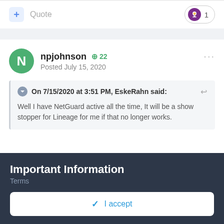+ Quote
1
npjohnson +22 Posted July 15, 2020
On 7/15/2020 at 3:51 PM, EskeRahn said:
Well I have NetGuard active all the time, It will be a show stopper for Lineage for me if that no longer works.
Important Information
Terms
I accept